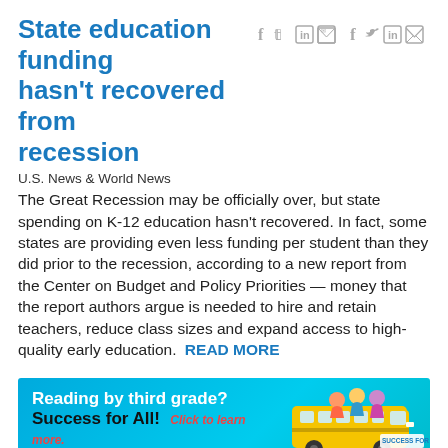State education funding hasn't recovered from recession
U.S. News & World News
The Great Recession may be officially over, but state spending on K-12 education hasn't recovered. In fact, some states are providing even less funding per student than they did prior to the recession, according to a new report from the Center on Budget and Policy Priorities — money that the report authors argue is needed to hire and retain teachers, reduce class sizes and expand access to high-quality early education.  READ MORE
[Figure (illustration): Advertisement banner for 'Success for All' reading program featuring a school bus and children with text 'Reading by third grade? Success for All! Click to learn more.']
How schools will be different without No Child Left Behind
Vox